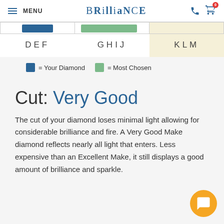MENU | BRILLIANCE
[Figure (infographic): Diamond color scale showing three segments: DEF (dark blue indicator), GHIJ (green indicator, most chosen), KLM (cream/yellow background). Legend: blue = Your Diamond, green = Most Chosen.]
= Your Diamond   = Most Chosen
Cut: Very Good
The cut of your diamond loses minimal light allowing for considerable brilliance and fire. A Very Good Make diamond reflects nearly all light that enters. Less expensive than an Excellent Make, it still displays a good amount of brilliance and sparkle.